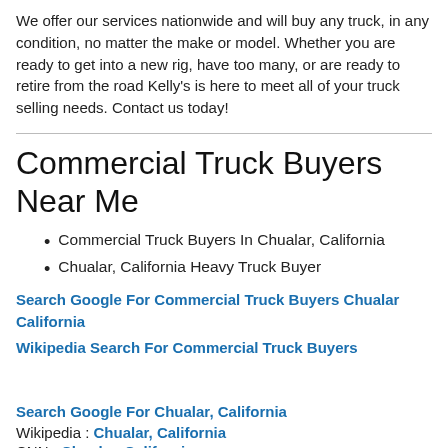We offer our services nationwide and will buy any truck, in any condition, no matter the make or model. Whether you are ready to get into a new rig, have too many, or are ready to retire from the road Kelly's is here to meet all of your truck selling needs. Contact us today!
Commercial Truck Buyers Near Me
Commercial Truck Buyers In Chualar, California
Chualar, California Heavy Truck Buyer
Search Google For Commercial Truck Buyers Chualar California
Wikipedia Search For Commercial Truck Buyers
Search Google For Chualar, California
Wikipedia : Chualar, California
CNN : Chualar, California